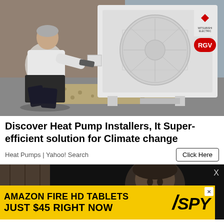[Figure (photo): A man kneeling beside a large white Mitsubishi Electric heat pump unit (labeled RGV) installed on gravel outside a brick building. He appears to be installing or servicing the unit, holding a drill or tool. The unit has a large circular fan grille on the front.]
Discover Heat Pump Installers, It Super-efficient solution for Climate change
Heat Pumps | Yahoo! Search
Click Here
[Figure (photo): Dark photo of a person (partially visible, dark background) — appears to be a movie/TV screenshot used in an ad or article teaser.]
[Figure (infographic): Yellow banner advertisement: 'AMAZON FIRE HD TABLETS JUST $45 RIGHT NOW' with SPY logo on right side. Has a white X close button in top-right corner.]